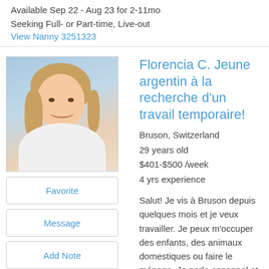Available Sep 22 - Aug 23 for 2-11mo
Seeking Full- or Part-time, Live-out
View Nanny 3251323
[Figure (photo): Profile photo of Florencia C., a young woman with blonde hair, smiling, photographed near a window]
Florencia C. Jeune argentin à la recherche d'un travail temporaire!
Bruson, Switzerland
29 years old
$401-$500 /week
4 yrs experience
Salut! Je vis à Bruson depuis quelques mois et je veux travailler. Je peux m'occuper des enfants, des animaux domestiques ou faire le ménage. Je parle espagnol et j'aimerais apprendre le français.... more
Last logged in 2 days ago